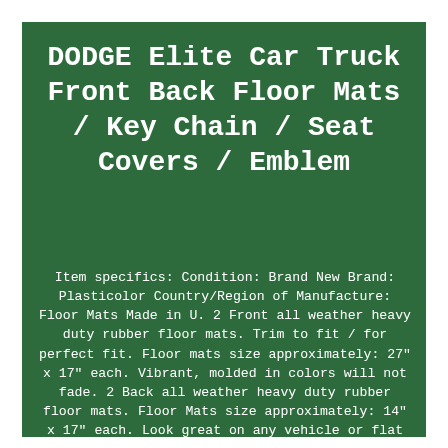DODGE Elite Car Truck Front Back Floor Mats / Key Chain / Seat Covers / Emblem
Item specifics: Condition: Brand New Brand: Plasticolor Country/Region of Manufacture: Floor Mats Made in U. 2 Front all weather heavy duty rubber floor mats. Trim to fit / for perfect fit. Floor mats size approximately: 27" x 17" each. Vibrant, molded in colors will not fade. 2 Back all weather heavy duty rubber floor mats. Floor Mats size approximately: 14" x 17" each. Look great on any vehicle or flat surface. Universal fit front seat cover with headrest cover. Universal fit to all vehicles with detachable headrests. Cargo pocket on the back side. Comes with S-hooks to provide a smooth stretched fit